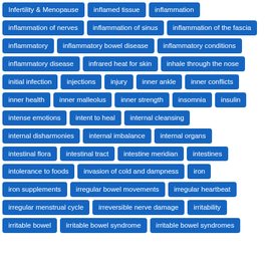Infertility & Menopause
inflamed tissue
inflammation
inflammation of nerves
inflammation of sinus
inflammation of the fascia
inflammatory
inflammatory bowel disease
inflammatory conditions
inflammatory disease
infrared heat for skin
inhale through the nose
initial infection
injections
injury
inner ankle
inner conflicts
inner health
inner malleolus
inner strength
insomnia
insulin
intense emotions
intent to heal
internal cleansing
internal disharmonies
internal imbalance
internal organs
intestinal flora
intestinal tract
intestine meridian
intestines
intolerance to foods
invasion of cold and dampness
iron
iron supplements
irregular bowel movements
irregular heartbeat
irregular menstrual cycle
irreversible nerve damage
irritability
irritable bowel
irritable bowel syndrome
irritable bowel syndromes